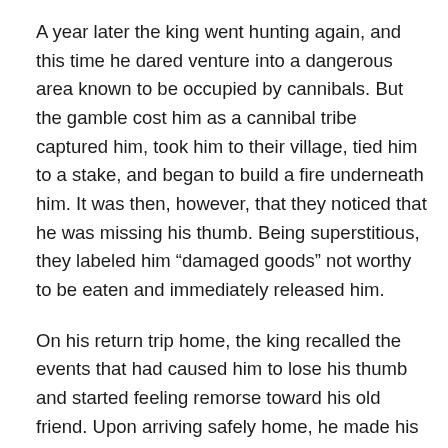A year later the king went hunting again, and this time he dared venture into a dangerous area known to be occupied by cannibals. But the gamble cost him as a cannibal tribe captured him, took him to their village, tied him to a stake, and began to build a fire underneath him. It was then, however, that they noticed that he was missing his thumb. Being superstitious, they labeled him “damaged goods” not worthy to be eaten and immediately released him.
On his return trip home, the king recalled the events that had caused him to lose his thumb and started feeling remorse toward his old friend. Upon arriving safely home, he made his way to the jail to order his friend’s release. When he arrived at the jail, he told his friend, “You were right that it was good that my thumb was blown off.” Then he told his friend the harrowing tail of his close call with